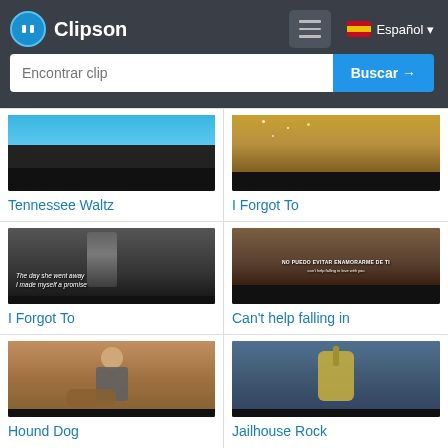Clipson — Encontrar clip — Buscar → — Español
[Figure (screenshot): Video thumbnail for Tennessee Waltz, blue and black tones]
Tennessee Waltz
[Figure (screenshot): Video thumbnail for I Forgot To, sparkly golden light tones]
I Forgot To
[Figure (screenshot): Video thumbnail for I Forgot To, black and white portrait with italic text overlay]
I Forgot To
[Figure (screenshot): Video thumbnail for Can't help falling in, brown/dark tones with Spanish subtitle overlay]
Can't help falling in
[Figure (screenshot): Video thumbnail for Hound Dog, man playing acoustic guitar]
Hound Dog
[Figure (screenshot): Video thumbnail for Jailhouse Rock, person playing electric guitar]
Jailhouse Rock